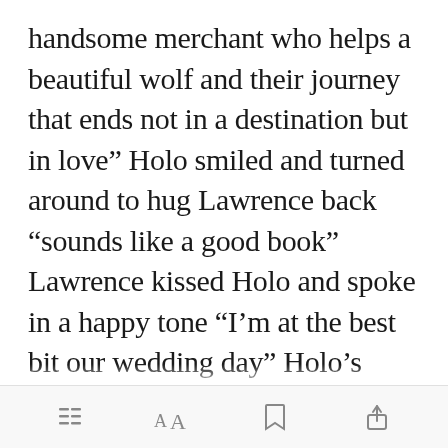handsome merchant who helps a beautiful wolf and their journey that ends not in a destination but in love” Holo smiled and turned around to hug Lawrence back “sounds like a good book” Lawrence kissed Holo and spoke in a happy tone “I’m at the best bit our wedding day” Holo’s eyes shot open from their half closed state, Holo felt around her ha[Open in app]ng the metal
[menu icon] [font size icon] [bookmark icon] [share icon]